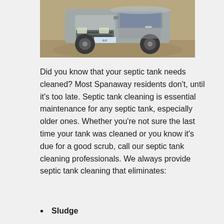[Figure (photo): A pickup truck (service vehicle) photographed from the front, parked on a dirt/gravel surface.]
Did you know that your septic tank needs cleaned? Most Spanaway residents don't, until it's too late. Septic tank cleaning is essential maintenance for any septic tank, especially older ones. Whether you're not sure the last time your tank was cleaned or you know it's due for a good scrub, call our septic tank cleaning professionals. We always provide septic tank cleaning that eliminates:
Sludge